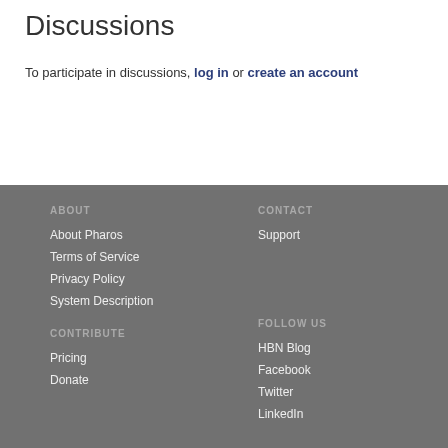Discussions
To participate in discussions, log in or create an account
ABOUT
About Pharos
Terms of Service
Privacy Policy
System Description
CONTACT
Support
CONTRIBUTE
Pricing
Donate
FOLLOW US
HBN Blog
Facebook
Twitter
LinkedIn